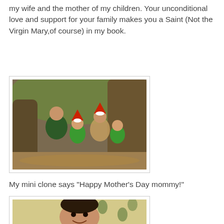my wife and the mother of my children. Your unconditional love and support for your family makes you a Saint (Not the Virgin Mary,of course) in my book.
[Figure (photo): Family photo outdoors near large tree roots. A man, woman, and two young children wearing green outfits; the adults wear Santa hats. They are sitting and crouching together in a natural setting.]
My mini clone says "Happy Mother's Day mommy!"
[Figure (photo): Close-up photo of a young boy with dark hair smiling, with a patterned background behind him.]